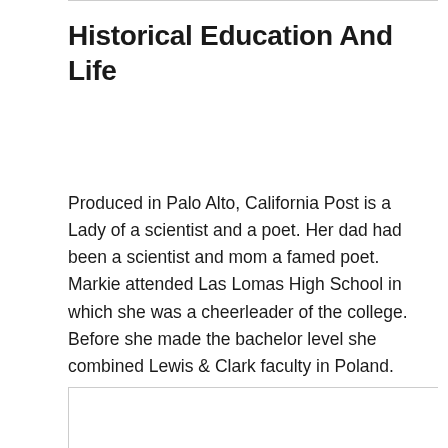Historical Education And Life
Produced in Palo Alto, California Post is a Lady of a scientist and a poet. Her dad had been a scientist and mom a famed poet. Markie attended Las Lomas High School in which she was a cheerleader of the college. Before she made the bachelor level she combined Lewis & Clark faculty in Poland.